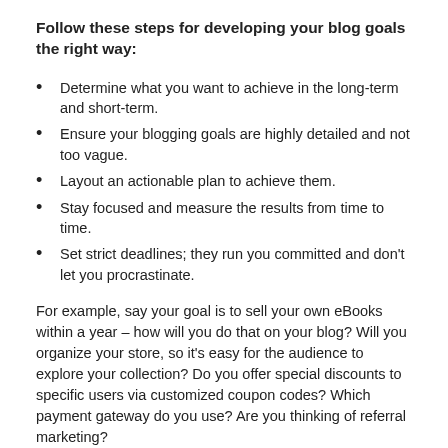Follow these steps for developing your blog goals the right way:
Determine what you want to achieve in the long-term and short-term.
Ensure your blogging goals are highly detailed and not too vague.
Layout an actionable plan to achieve them.
Stay focused and measure the results from time to time.
Set strict deadlines; they run you committed and don't let you procrastinate.
For example, say your goal is to sell your own eBooks within a year – how will you do that on your blog? Will you organize your store, so it's easy for the audience to explore your collection? Do you offer special discounts to specific users via customized coupon codes? Which payment gateway do you use? Are you thinking of referral marketing?